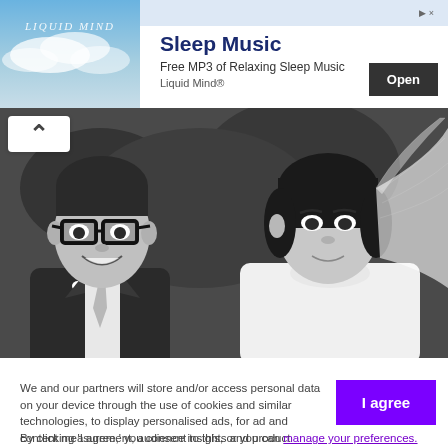[Figure (infographic): Advertisement banner for Liquid Mind Sleep Music. Left side shows sky/clouds background with 'LIQUID MIND' text. Right side shows 'Sleep Music' heading, 'Free MP3 of Relaxing Sleep Music', 'Liquid Mind®' brand, and an 'Open' button. Top right has an arrow and close icon.]
[Figure (photo): Black and white wedding photo of a young couple. The man on the left wears thick-rimmed glasses, a suit and tie, and has a boutonniere. The woman on the right wears a wedding veil and dress.]
We and our partners will store and/or access personal data on your device through the use of cookies and similar technologies, to display personalised ads, for ad and content measurement, audience insights and product development.

By clicking 'I agree,' you consent to this, or you can manage your preferences.